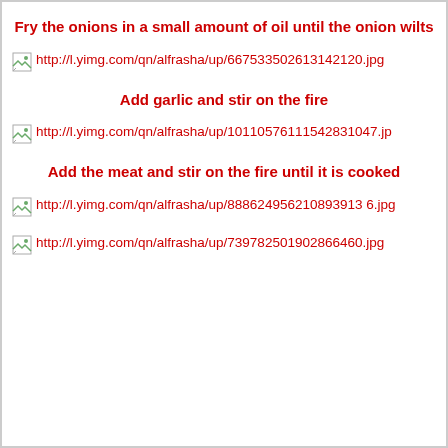Fry the onions in a small amount of oil until the onion wilts
[Figure (other): Broken image placeholder with URL: http://l.yimg.com/qn/alfrasha/up/667533502613142120.jpg]
Add garlic and stir on the fire
[Figure (other): Broken image placeholder with URL: http://l.yimg.com/qn/alfrasha/up/10110576111542831047.jp]
Add the meat and stir on the fire until it is cooked
[Figure (other): Broken image placeholder with URL: http://l.yimg.com/qn/alfrasha/up/888624956210893913 6.jpg]
[Figure (other): Broken image placeholder with URL: http://l.yimg.com/qn/alfrasha/up/739782501902866460.jpg]